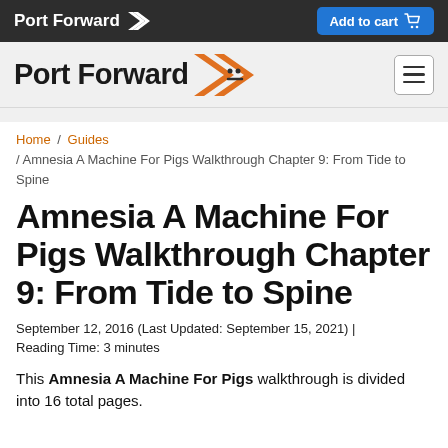Port Forward | Add to cart
[Figure (logo): Port Forward logo with orange chevron arrow in site header]
Home / Guides / Amnesia A Machine For Pigs Walkthrough Chapter 9: From Tide to Spine
Amnesia A Machine For Pigs Walkthrough Chapter 9: From Tide to Spine
September 12, 2016 (Last Updated: September 15, 2021) | Reading Time: 3 minutes
This Amnesia A Machine For Pigs walkthrough is divided into 16 total pages.